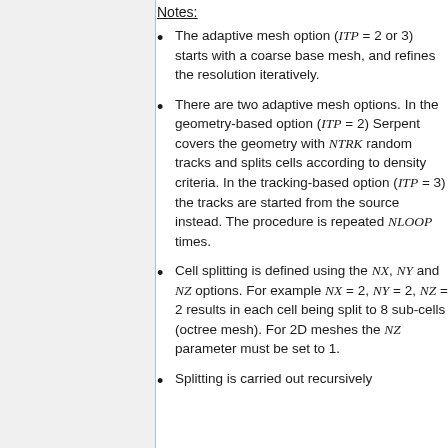Notes:
The adaptive mesh option (ITP = 2 or 3) starts with a coarse base mesh, and refines the resolution iteratively.
There are two adaptive mesh options. In the geometry-based option (ITP = 2) Serpent covers the geometry with NTRK random tracks and splits cells according to density criteria. In the tracking-based option (ITP = 3) the tracks are started from the source instead. The procedure is repeated NLOOP times.
Cell splitting is defined using the NX, NY and NZ options. For example NX = 2, NY = 2, NZ = 2 results in each cell being split to 8 sub-cells (octree mesh). For 2D meshes the NZ parameter must be set to 1.
Splitting is carried out recursively